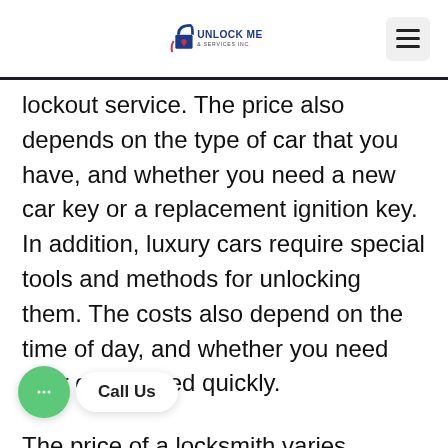Unlock Me & Services Inc.
lockout service. The price also depends on the type of car that you have, and whether you need a new car key or a replacement ignition key. In addition, luxury cars require special tools and methods for unlocking them. The costs also depend on the time of day, and whether you need your car opened quickly.
The price of a locksmith varies depending on the ... you need repaired or replaced. A basic key copy can cost $1.50 to $4,